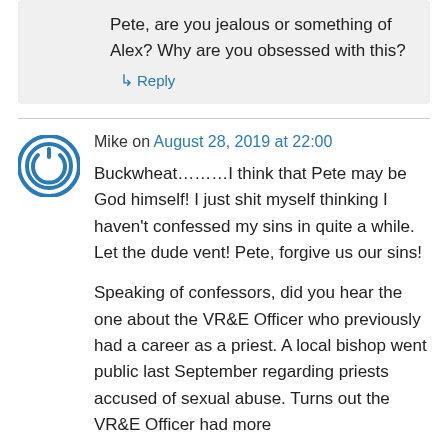Pete, are you jealous or something of Alex? Why are you obsessed with this?
↳ Reply
Mike on August 28, 2019 at 22:00
Buckwheat………I think that Pete may be God himself! I just shit myself thinking I haven't confessed my sins in quite a while. Let the dude vent! Pete, forgive us our sins!
Speaking of confessors, did you hear the one about the VR&E Officer who previously had a career as a priest. A local bishop went public last September regarding priests accused of sexual abuse. Turns out the VR&E Officer had more...